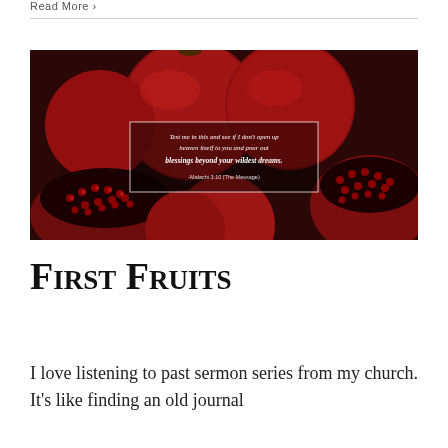Read More >
[Figure (photo): Close-up photograph of red pomegranates, some whole and some cut open showing seeds, with a Bible verse quote overlay: 'Test me in this and see if I don't open up heaven itself to you and pour out blessings beyond your wildest dreams. -Malachi 3:10 (The Message)']
First Fruits
I love listening to past sermon series from my church. It's like finding an old journal